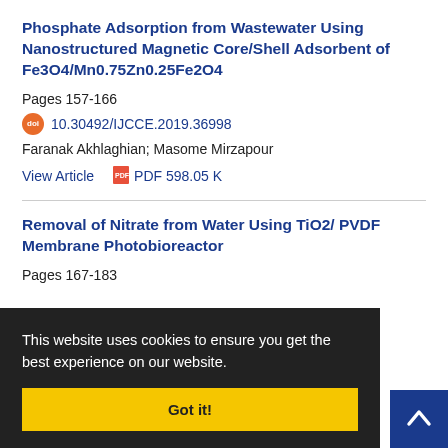Phosphate Adsorption from Wastewater Using Nanostructured Magnetic Core/Shell Adsorbent of Fe3O4/Mn0.75Zn0.25Fe2O4
Pages 157-166
10.30492/IJCCE.2019.36998
Faranak Akhlaghian; Masome Mirzapour
View Article  PDF 598.05 K
Removal of Nitrate from Water Using TiO2/ PVDF Membrane Photobioreactor
Pages 167-183
bakhshi;
This website uses cookies to ensure you get the best experience on our website.
Got it!
Kinetic and Thermodynamic Evaluation of the Uraniu